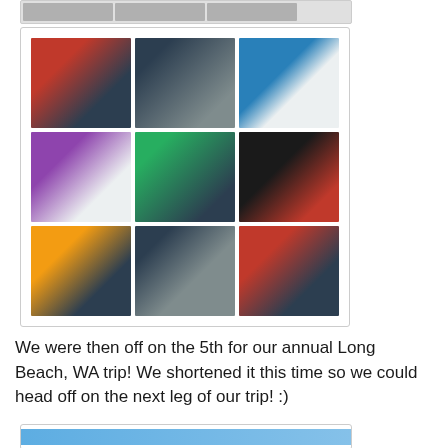[Figure (photo): Partial top strip showing photos from a previous section]
[Figure (photo): 3x3 grid collage of family/group photos, likely from a 4th of July gathering. Top row: group family photo with red shirts, group photo indoors, closeup of two people with cups. Middle row: selfie of couple, large group photo outdoors, campfire/fireworks photo. Bottom row: group of three people, three women together, two young men.]
We were then off on the 5th for our annual Long Beach, WA trip! We shortened it this time so we could head off on the next leg of our trip! :)
[Figure (photo): Partial bottom box showing top of next photo (blue/beach color visible)]